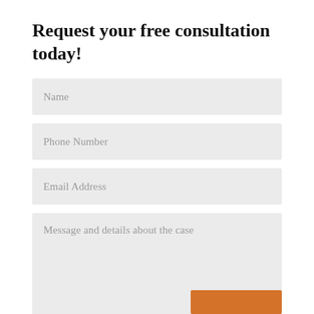Request your free consultation today!
Name
Phone Number
Email Address
Message and details about the case